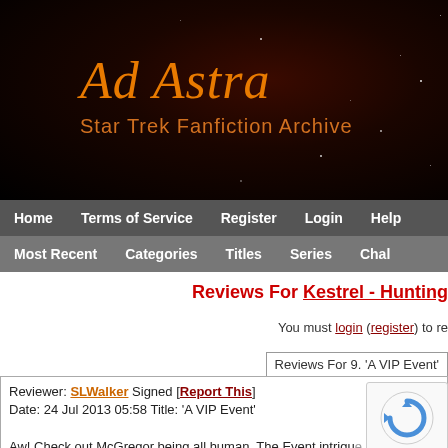[Figure (logo): Ad Astra Star Trek Fanfiction Archive logo on dark starfield background]
Home | Terms of Service | Register | Login | Help
Most Recent | Categories | Titles | Series | Chal
Reviews For Kestrel - Hunting
You must login (register) to re
Reviews For 9. 'A VIP Event'
Reviewer: SLWalker Signed [Report This]
Date: 24 Jul 2013 05:58 Title: 'A VIP Event'

Aw! Check out McGregor being all human. The Event intrigue... asshole here quite well and coldly. You string us, your loving readers, alon